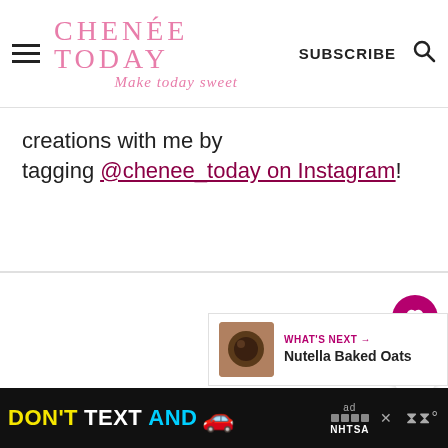CHENÉE TODAY — Make today sweet | SUBSCRIBE
creations with me by tagging @chenee_today on Instagram!
[Figure (other): Dark circular food image thumbnail for Nutella Baked Oats]
WHAT'S NEXT → Nutella Baked Oats
[Figure (other): Advertisement banner: DON'T TEXT AND [car emoji] — NHTSA ad with close button]